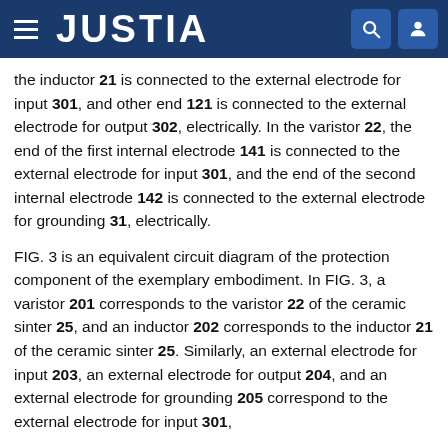JUSTIA
the inductor 21 is connected to the external electrode for input 301, and other end 121 is connected to the external electrode for output 302, electrically. In the varistor 22, the end of the first internal electrode 141 is connected to the external electrode for input 301, and the end of the second internal electrode 142 is connected to the external electrode for grounding 31, electrically.
FIG. 3 is an equivalent circuit diagram of the protection component of the exemplary embodiment. In FIG. 3, a varistor 201 corresponds to the varistor 22 of the ceramic sinter 25, and an inductor 202 corresponds to the inductor 21 of the ceramic sinter 25. Similarly, an external electrode for input 203, an external electrode for output 204, and an external electrode for grounding 205 correspond to the external electrode for input 301,